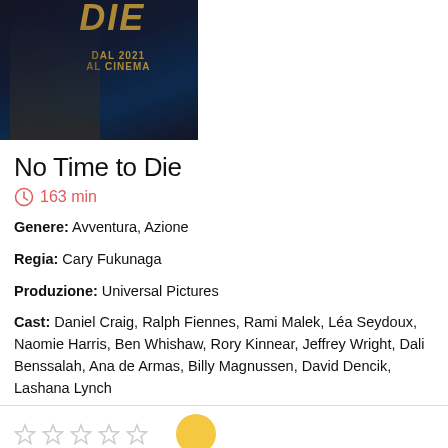[Figure (photo): Movie poster for No Time to Die showing partial title 'DIE' in gold letters, text 'DAL 2021 AL CINEMA', dark background with suited figure]
No Time to Die
163 min
Genere: Avventura, Azione
Regia: Cary Fukunaga
Produzione: Universal Pictures
Cast: Daniel Craig, Ralph Fiennes, Rami Malek, Léa Seydoux, Naomie Harris, Ben Whishaw, Rory Kinnear, Jeffrey Wright, Dali Benssalah, Ana de Armas, Billy Magnussen, David Dencik, Lashana Lynch
Search for
I cookie ci aiutano a fornire i nostri servizi. Utilizzando tali servizi, accetti l'utilizzo dei cookie da parte nostra.
OK
mostra_dettagli